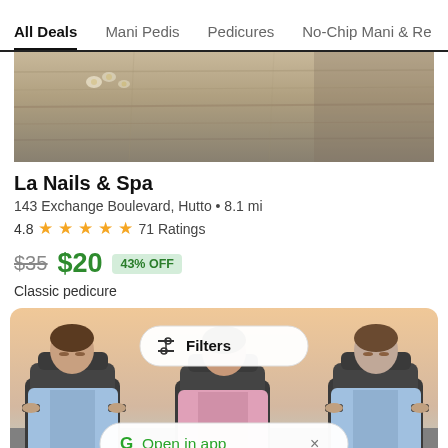All Deals | Mani Pedis | Pedicures | No-Chip Mani & Re
[Figure (photo): Hero image of a wooden surface with small white flowers, product listing photo for La Nails & Spa]
La Nails & Spa
143 Exchange Boulevard, Hutto • 8.1 mi
4.8 ★★★★★ 71 Ratings
$35 $20 43% OFF
Classic pedicure
[Figure (photo): Photo of three people in blue robes relaxing in massage chairs at a nail spa, with a Filters button overlay and Open in app banner]